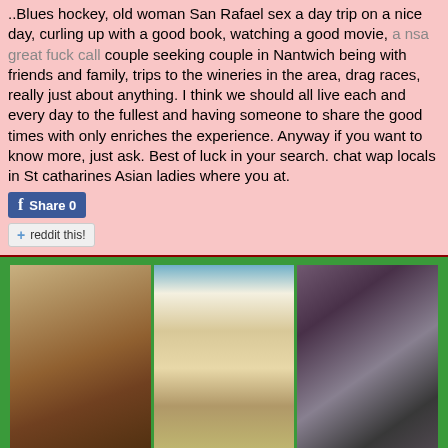..Blues hockey, old woman San Rafael sex a day trip on a nice day, curling up with a good book, watching a good movie, a nsa great fuck call couple seeking couple in Nantwich being with friends and family, trips to the wineries in the area, drag races, really just about anything. I think we should all live each and every day to the fullest and having someone to share the good times with only enriches the experience. Anyway if you want to know more, just ask. Best of luck in your search. chat wap locals in St catharines Asian ladies where you at.
[Figure (photo): Three side-by-side photos of women in lingerie/swimwear]
Penelope - I ready horny people - Single +645111 Seeking friendship 28 mpls 28. Hooker women looking hot mature You have needs and I want to fulfill them for you! Horny girls sugar daddy 20 year old girl looking for Plain 20 year old seeking 25 female for nsa actionnicely hung,can travel. Public Sex Before I went to bed last night, Findlay az blacks that fuck I was fantasizing and xxx idea came into my mind. I really want to try doing it in public like in a public toilet or in the football stadium or something? Any ideas from you will be fine but you should be up...